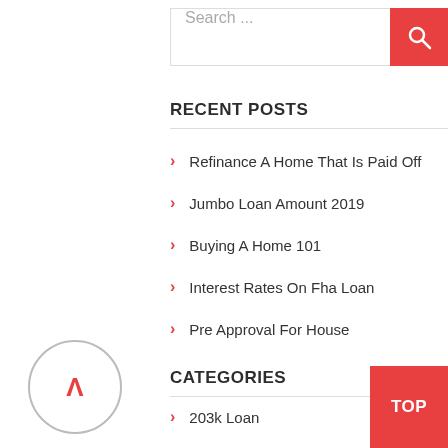[Figure (screenshot): Search bar with text 'Search ...' and a red search button with a magnifying glass icon]
RECENT POSTS
Refinance A Home That Is Paid Off
Jumbo Loan Amount 2019
Buying A Home 101
Interest Rates On Fha Loan
Pre Approval For House
CATEGORIES
203k Loan